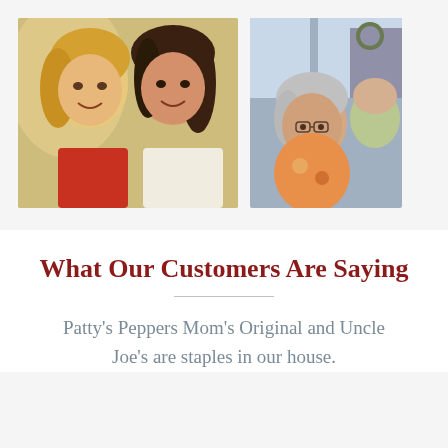[Figure (photo): Two young women smiling together in a selfie outdoors, one with blonde hair wearing red, the other with dark hair wearing white]
[Figure (photo): An older woman with short gray hair and glasses smiling, with another person partially visible behind her, in front of a house porch]
What Our Customers Are Saying
Patty's Peppers Mom's Original and Uncle Joe's are staples in our house.